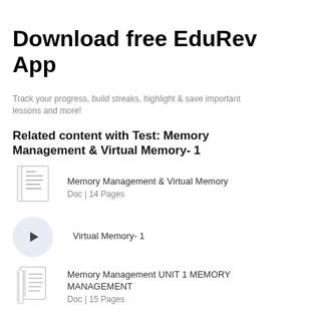Download free EduRev App
Track your progress, build streaks, highlight & save important lessons and more!
Related content with Test: Memory Management & Virtual Memory- 1
Memory Management & Virtual Memory
Doc | 14 Pages
Virtual Memory- 1
Memory Management UNIT 1 MEMORY MANAGEMENT
Doc | 15 Pages
Virtual Memory